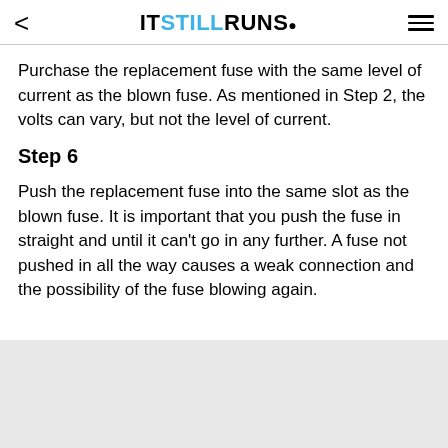< ITSTILLRUNS.
Purchase the replacement fuse with the same level of current as the blown fuse. As mentioned in Step 2, the volts can vary, but not the level of current.
Step 6
Push the replacement fuse into the same slot as the blown fuse. It is important that you push the fuse in straight and until it can't go in any further. A fuse not pushed in all the way causes a weak connection and the possibility of the fuse blowing again.
[Figure (other): Gray placeholder/advertisement box at bottom of page]